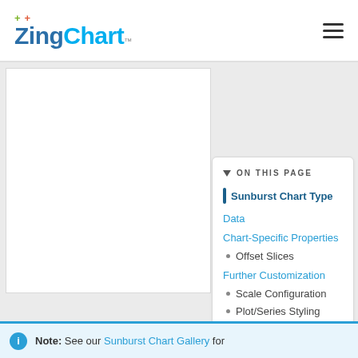ZingChart™ — navigation header with hamburger menu
[Figure (screenshot): White main content panel, mostly blank/empty]
ON THIS PAGE
Sunburst Chart Type
Data
Chart-Specific Properties
Offset Slices
Further Customization
Scale Configuration
Plot/Series Styling
Tokens
Tooltips
Value Boxes
Note: See our Sunburst Chart Gallery for